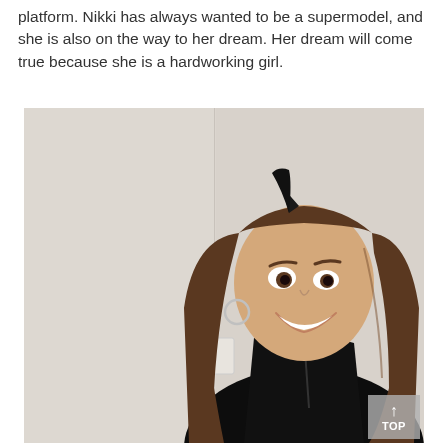platform. Nikki has always wanted to be a supermodel, and she is also on the way to her dream. Her dream will come true because she is a hardworking girl.
[Figure (photo): A young woman wearing cat ears headband and a black shiny outfit, smiling and leaning against a light-colored wall. She has long brown hair and a silver hoop earring.]